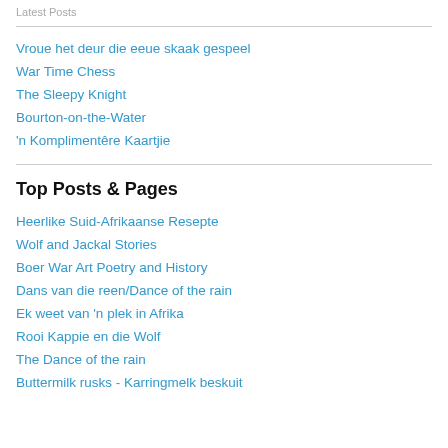Latest Posts
Vroue het deur die eeue skaak gespeel
War Time Chess
The Sleepy Knight
Bourton-on-the-Water
'n Komplimentêre Kaartjie
Top Posts & Pages
Heerlike Suid-Afrikaanse Resepte
Wolf and Jackal Stories
Boer War Art Poetry and History
Dans van die reen/Dance of the rain
Ek weet van 'n plek in Afrika
Rooi Kappie en die Wolf
The Dance of the rain
Buttermilk rusks - Karringmelk beskuit